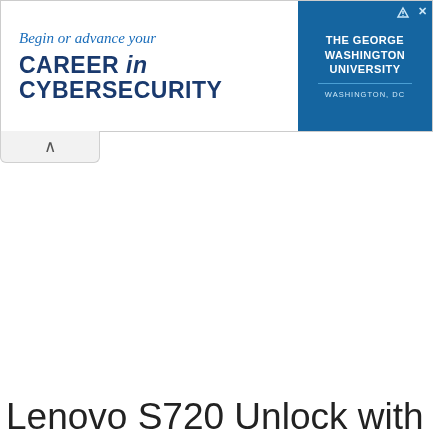[Figure (infographic): Advertisement banner for The George Washington University cybersecurity program. Left side on white background shows italic blue text 'Begin or advance your' and bold dark blue text 'CAREER in CYBERSECURITY'. Right side has blue background with white bold text 'THE GEORGE WASHINGTON UNIVERSITY' and light text 'WASHINGTON, DC'.]
^
Lenovo S720 Unlock with